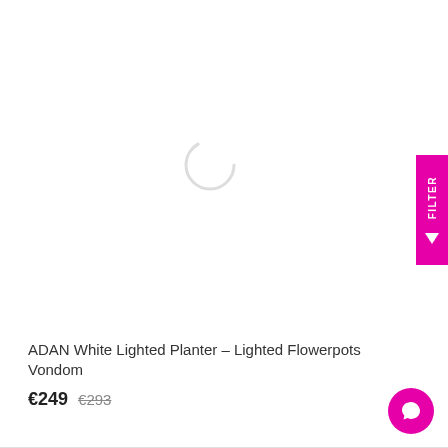[Figure (illustration): Product image loading spinner (circular arc indicator) centered in white product image area]
FILTER
ADAN White Lighted Planter – Lighted Flowerpots Vondom
€249 €293